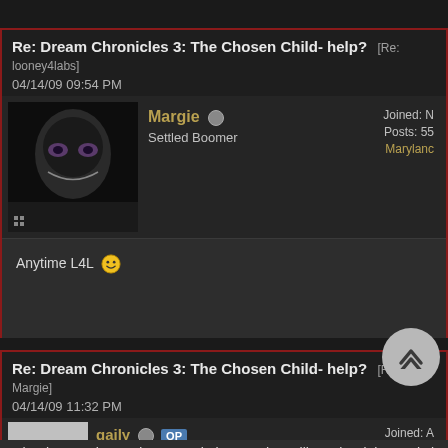Re: Dream Chronicles 3: The Chosen Child- help? [Re: looney4labs]
04/14/09 09:54 PM
Margie - Settled Boomer - Joined: N - Posts: 55 - Maryland
Anytime L4L 🙂
Re: Dream Chronicles 3: The Chosen Child- help? [Re: Margie]
04/14/09 11:32 PM
gaily OP - Settled Boomer - Joined: A - Posts: 6 - Ca.
Thanks Margie!! And congratulations!! What will you be doing, or is it too soon to say? My latest dilemma in the game is the